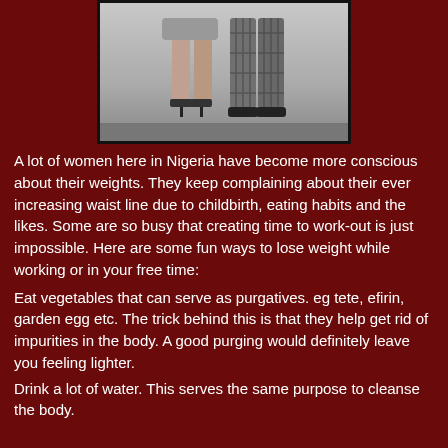[Figure (photo): Black and white photograph of two people from the waist down — a woman in a skirt and heels, and a man in plaid trousers and shoes, standing close together.]
A lot of women here in Nigeria have become more conscious about their weights. They keep complaining about their ever increasing waist line due to childbirth, eating habits and the likes. Some are so busy that creating time to work-out is just impossible. Here are some fun ways to lose weight while working or in your free time:
Eat vegetables that can serve as purgatives. eg tete, efirin, garden egg etc. The trick behind this is that they help get rid of impurities in the body. A good purging would definitely leave you feeling lighter.
Drink a lot of water. This serves the same purpose to cleanse the body.